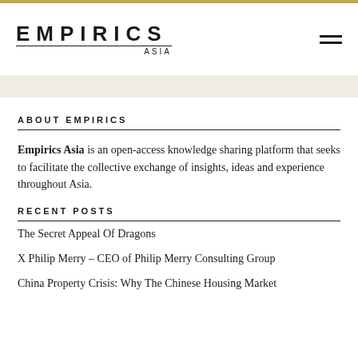EMPIRICS ASIA
ABOUT EMPIRICS
Empirics Asia is an open-access knowledge sharing platform that seeks to facilitate the collective exchange of insights, ideas and experience throughout Asia.
RECENT POSTS
The Secret Appeal Of Dragons
X Philip Merry – CEO of Philip Merry Consulting Group
China Property Crisis: Why The Chinese Housing Market